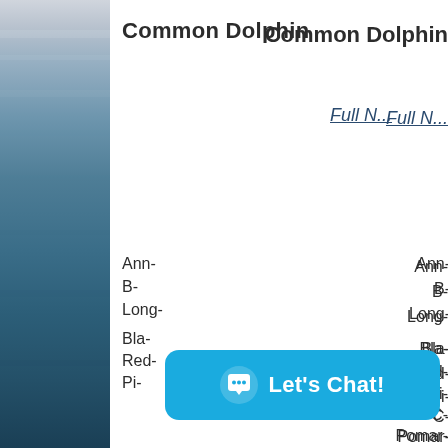[Figure (photo): Ocean/seascape photo strip on the left side of the page, showing layered horizontal bands of blue-grey water and sky tones.]
Common Dolphin
Full N...
Ann-
B-
Long-
Bla-
Red-
Pi-
C-
Pomar-
H-
C-
So-
M-
[Figure (screenshot): A bright blue chat button widget with a speech bubble icon and the text 'Let's Chat!']